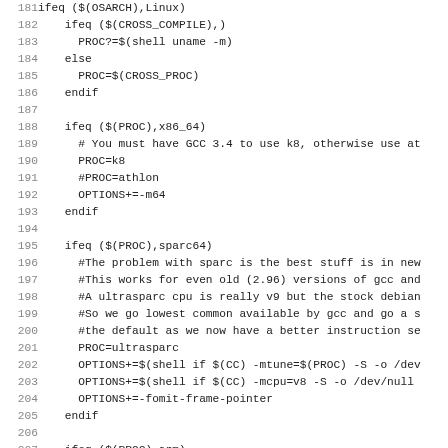[Figure (screenshot): Source code listing (Makefile) showing lines 181-212, with line numbers on the left in grey and code in monospace font on the right. The code contains conditional ifeq blocks for Linux architecture detection (OSARCH, CROSS_COMPILE, PROC variants including x86_64, sparc64, arm) with corresponding compiler options.]